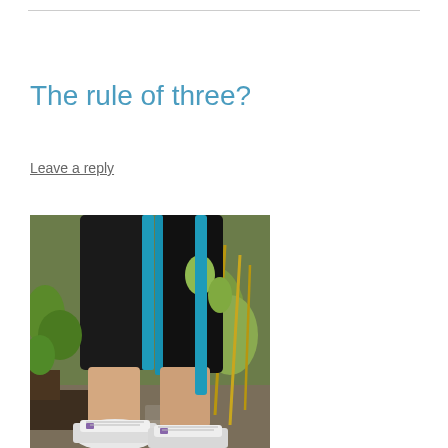The rule of three?
Leave a reply
[Figure (photo): Person standing in a garden wearing black capri running tights with teal/blue side stripe and white running shoes, photographed from the waist down. Garden with plants and bamboo stakes visible in background.]